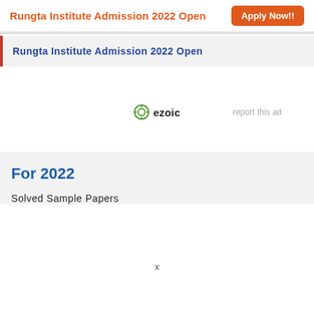Rungta Institute Admission 2022 Open  Apply Now!!
Rungta Institute Admission 2022 Open
[Figure (logo): ezoic logo with circular icon and text 'ezoic', alongside 'report this ad' link]
For 2022
Solved Sample Papers